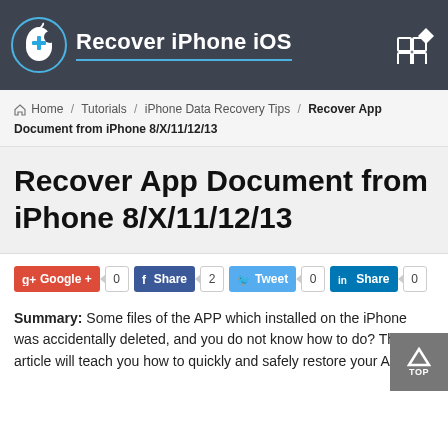[Figure (logo): Recover iPhone iOS logo with blue cross/apple icon on dark background header]
Home / Tutorials / iPhone Data Recovery Tips / Recover App Document from iPhone 8/X/11/12/13
Recover App Document from iPhone 8/X/11/12/13
[Figure (infographic): Social sharing buttons: Google+ (0), Facebook Share (2), Twitter Tweet (0), LinkedIn Share (0)]
Summary: Some files of the APP which installed on the iPhone was accidentally deleted, and you do not know how to do? This article will teach you how to quickly and safely restore your App